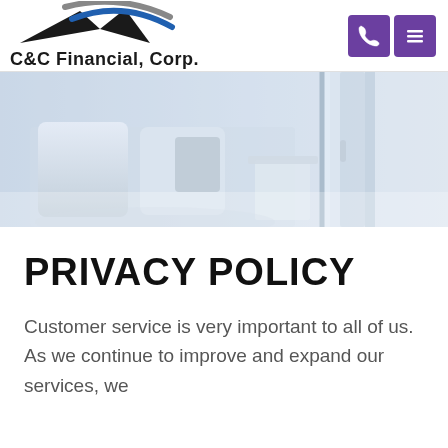[Figure (logo): C&C Financial Corp logo with roof/house graphic and company name]
[Figure (photo): Hero banner photo of a bright white bedroom interior with pillows and curtains]
PRIVACY POLICY
Customer service is very important to all of us. As we continue to improve and expand our services, we